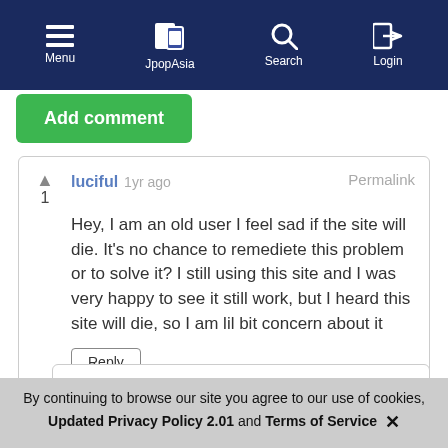Menu | JpopAsia | Search | Login
Add comment
luciful 1yr ago
Permalink
1
Hey, I am an old user I feel sad if the site will die. It's no chance to remediete this problem or to solve it? I still using this site and I was very happy to see it still work, but I heard this site will die, so I am lil bit concern about it
Reply
pronzite 1yr ago
Permalink
1
By continuing to browse our site you agree to our use of cookies, Updated Privacy Policy 2.01 and Terms of Service ✕